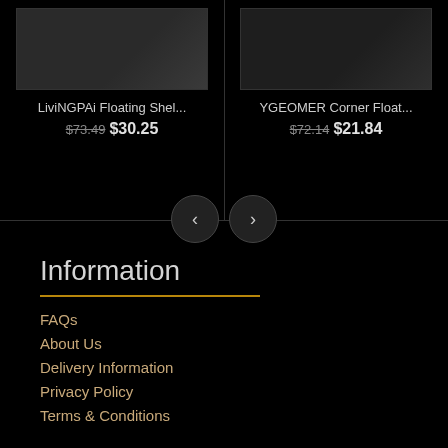[Figure (photo): Product image of LiviNGPAi Floating Shelf]
LiviNGPAi Floating Shel...
$73.49 $30.25
[Figure (photo): Product image of YGEOMER Corner Floating Shelf]
YGEOMER Corner Float...
$72.14 $21.84
Information
FAQs
About Us
Delivery Information
Privacy Policy
Terms & Conditions